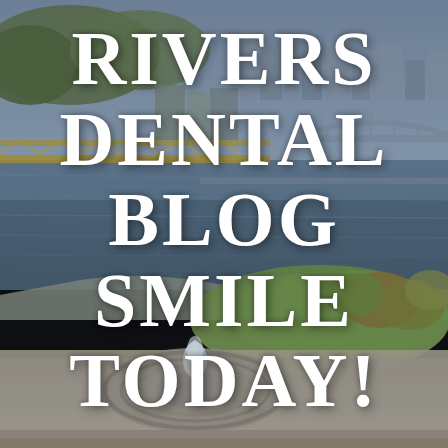[Figure (photo): Aerial photograph of Pittsburgh, Pennsylvania, showing the confluence of rivers, bridges including the Fort Pitt Bridge, downtown skyline, and Point State Park with its fountain in the foreground. Autumn foliage visible on trees. Sky is overcast.]
RIVERS DENTAL BLOG SMILE TODAY!